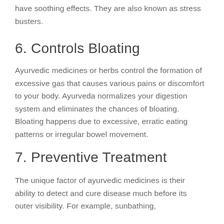have soothing effects. They are also known as stress busters.
6. Controls Bloating
Ayurvedic medicines or herbs control the formation of excessive gas that causes various pains or discomfort to your body. Ayurveda normalizes your digestion system and eliminates the chances of bloating. Bloating happens due to excessive, erratic eating patterns or irregular bowel movement.
7. Preventive Treatment
The unique factor of ayurvedic medicines is their ability to detect and cure disease much before its outer visibility. For example, sunbathing,